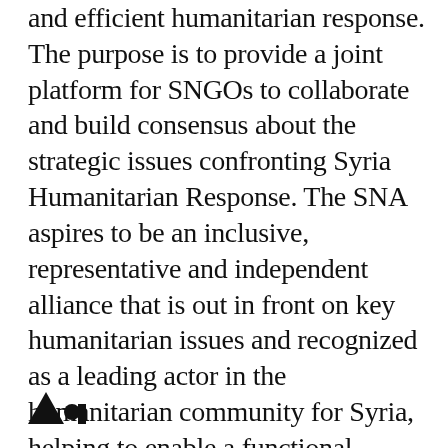and efficient humanitarian response. The purpose is to provide a joint platform for SNGOs to collaborate and build consensus about the strategic issues confronting Syria Humanitarian Response. The SNA aspires to be an inclusive, representative and independent alliance that is out in front on key humanitarian issues and recognized as a leading actor in the humanitarian community for Syria, helping to enable a functional, integrated response architecture that better identifies and serves the most vulnerable.
[Figure (logo): Partial logo visible at bottom left of page]